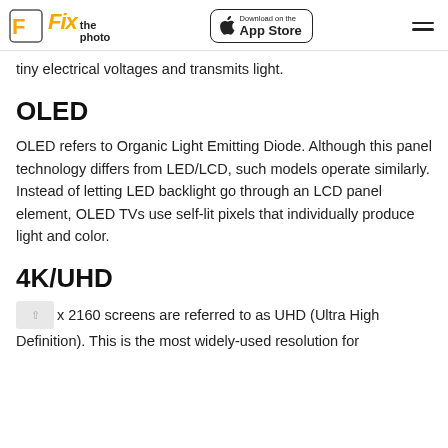Fix the photo | Download on the App Store
tiny electrical voltages and transmits light.
OLED
OLED refers to Organic Light Emitting Diode. Although this panel technology differs from LED/LCD, such models operate similarly. Instead of letting LED backlight go through an LCD panel element, OLED TVs use self-lit pixels that individually produce light and color.
4K/UHD
3840 x 2160 screens are referred to as UHD (Ultra High Definition). This is the most widely-used resolution for